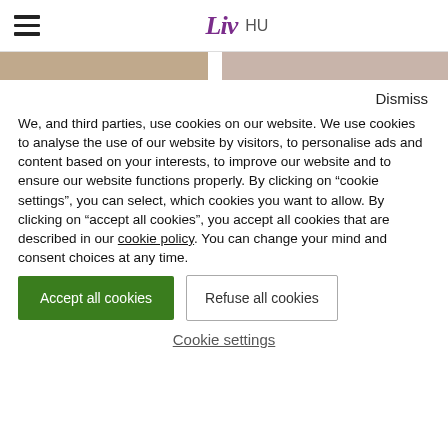Liv HU
[Figure (photo): Two partial photo strips showing people, separated by a white gap]
Dismiss
We, and third parties, use cookies on our website. We use cookies to analyse the use of our website by visitors, to personalise ads and content based on your interests, to improve our website and to ensure our website functions properly. By clicking on “cookie settings”, you can select, which cookies you want to allow. By clicking on “accept all cookies”, you accept all cookies that are described in our cookie policy. You can change your mind and consent choices at any time.
Accept all cookies
Refuse all cookies
Cookie settings